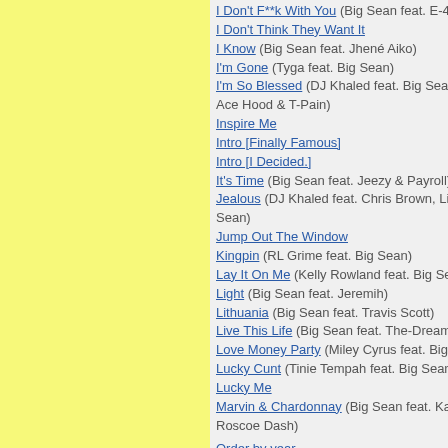I Don't F**k With You (Big Sean feat. E-40)
I Don't Think They Want It
I Know (Big Sean feat. Jhené Aiko)
I'm Gone (Tyga feat. Big Sean)
I'm So Blessed (DJ Khaled feat. Big Sean, Wiz Kh... Ace Hood & T-Pain)
Inspire Me
Intro [Finally Famous]
Intro [I Decided.]
It's Time (Big Sean feat. Jeezy & Payroll)
Jealous (DJ Khaled feat. Chris Brown, Lil Wayne ... Sean)
Jump Out The Window
Kingpin (RL Grime feat. Big Sean)
Lay It On Me (Kelly Rowland feat. Big Sean)
Light (Big Sean feat. Jeremih)
Lithuania (Big Sean feat. Travis Scott)
Live This Life (Big Sean feat. The-Dream)
Love Money Party (Miley Cyrus feat. Big Sean)
Lucky Cunt (Tinie Tempah feat. Big Sean)
Lucky Me
Marvin & Chardonnay (Big Sean feat. Kanye Wes... Roscoe Dash)
Order by year
Add a song
ALBUMS BY BIG SEAN
Dark Sky Paradise
Detroit 2
Double Or Nothing (Big Sean & Metro Boomin)
Finally Famous
Add an album